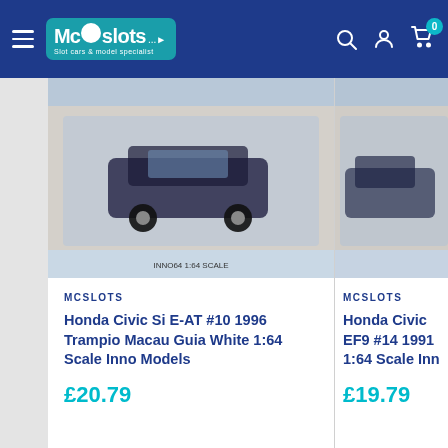McSlots - Slot cars & model specialist
[Figure (photo): Product photo of Honda Civic Si E-AT #10 1996 Trampio Macau Guia White 1:64 Scale Inno Models die-cast model in box]
MCSLOTS
Honda Civic Si E-AT #10 1996 Trampio Macau Guia White 1:64 Scale Inno Models
£20.79
[Figure (photo): Partial product photo of Honda Civic EF9 #14 1991 1:64 Scale Inno Models die-cast model in box (cropped at right edge)]
MCSLOTS
Honda Civic EF9 #14 1991 1:64 Scale Inno (cropped)
£19.79